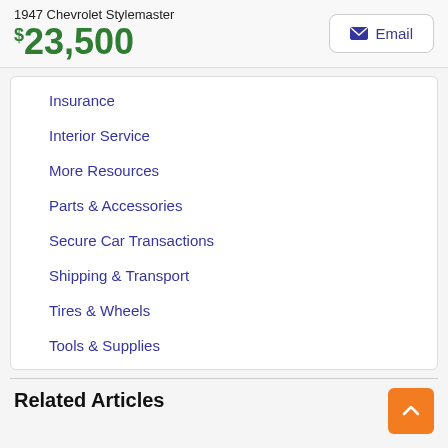1947 Chevrolet Stylemaster
$23,500
Insurance
Interior Service
More Resources
Parts & Accessories
Secure Car Transactions
Shipping & Transport
Tires & Wheels
Tools & Supplies
Related Articles